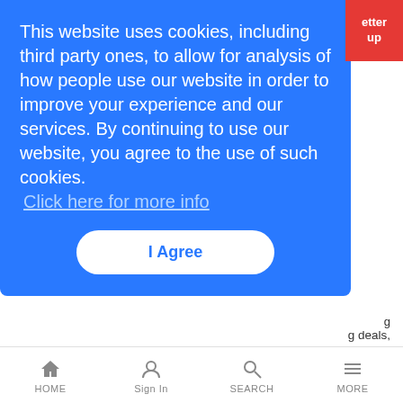[Figure (screenshot): Red button in top-right corner with text 'etter' and 'up']
This website uses cookies, including third party ones, to allow for analysis of how people use our website in order to improve your experience and our services. By continuing to use our website, you agree to the use of such cookies. Click here for more info
I Agree
g deals, according to the latest report from Rutberg and Co.
Softbank Asks Ericsson for Congestion Relief
News Analysis | 8/11/2014
Companies team up to demo Mobile-based Policy software to dynamically manage network congestion in busy areas.
HOME  Sign In  SEARCH  MORE